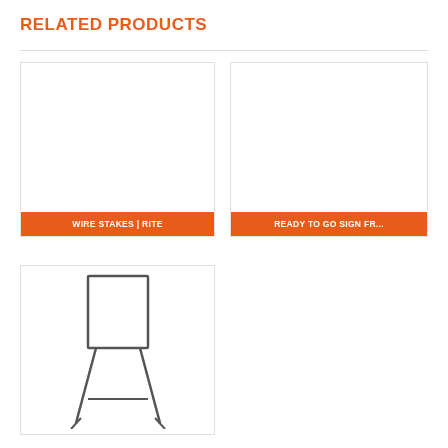RELATED PRODUCTS
[Figure (other): White blank product image placeholder for Wire Stakes | Rite product card]
WIRE STAKES | RITE
[Figure (other): White blank product image placeholder for Ready to Go Sign Fr... product card]
READY TO GO SIGN FR...
[Figure (illustration): Wire stake / sign holder illustration showing a rectangular frame on top with two angled legs forming a tripod stand, in black line art on white background]